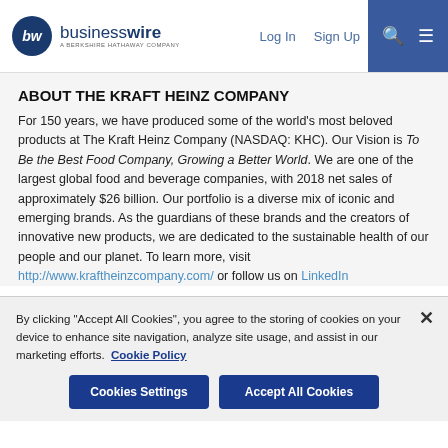businesswire — A BERKSHIRE HATHAWAY COMPANY | Log In | Sign Up
ABOUT THE KRAFT HEINZ COMPANY
For 150 years, we have produced some of the world's most beloved products at The Kraft Heinz Company (NASDAQ: KHC). Our Vision is To Be the Best Food Company, Growing a Better World. We are one of the largest global food and beverage companies, with 2018 net sales of approximately $26 billion. Our portfolio is a diverse mix of iconic and emerging brands. As the guardians of these brands and the creators of innovative new products, we are dedicated to the sustainable health of our people and our planet. To learn more, visit http://www.kraftheinzcompany.com/ or follow us on LinkedIn
By clicking "Accept All Cookies", you agree to the storing of cookies on your device to enhance site navigation, analyze site usage, and assist in our marketing efforts. Cookie Policy
Cookies Settings | Accept All Cookies